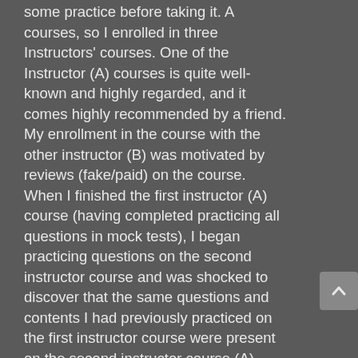some practice before taking it. A courses, so I enrolled in three Instructors' courses. One of the Instructor (A) courses is quite well-known and highly regarded, and it comes highly recommended by a friend. My enrollment in the course with the other instructor (B) was motivated by reviews (fake/paid) on the course. When I finished the first instructor (A) course (having completed practicing all questions in mock tests), I began practicing questions on the second instructor course and was shocked to discover that the same questions and contents I had previously practiced on the first instructor course were present on the second instructor course (A). This means that this individual has replicated the entirety of Instructor (A course, )'s including questions, photos, explanations, and even descriptions.
I gave him one star with honest comments (This person has copied....bla bla) and received a refund. I also reported his course to Udemy Trust and Safety for violating the Udemy copyright policy, which